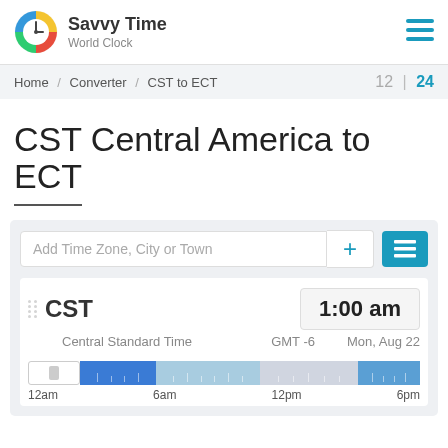Savvy Time World Clock
Home / Converter / CST to ECT   12 | 24
CST Central America to ECT
Add Time Zone, City or Town
| Zone | Time | Full Name | GMT Offset | Date |
| --- | --- | --- | --- | --- |
| CST | 1:00 am | Central Standard Time | GMT -6 | Mon, Aug 22 |
[Figure (infographic): 24-hour timeline bar showing time segments for CST with tick marks and time labels at 12am, 6am, 12pm, 6pm]